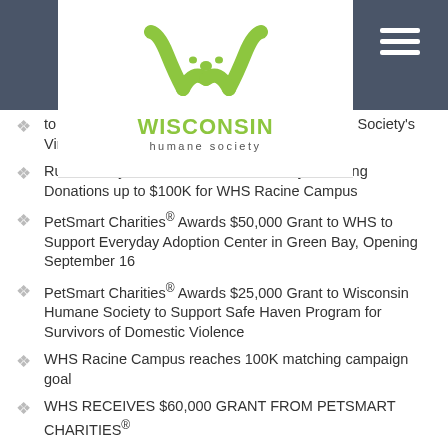Wisconsin Humane Society
[Figure (logo): Wisconsin Humane Society logo with green W/paw icon and text]
...to Match All Donations up to Wisconsin Humane Society's Virtual Pet Walk
Ruud Family Foundation and Ted Sokoly Matching Donations up to $100K for WHS Racine Campus
PetSmart Charities® Awards $50,000 Grant to WHS to Support Everyday Adoption Center in Green Bay, Opening September 16
PetSmart Charities® Awards $25,000 Grant to Wisconsin Humane Society to Support Safe Haven Program for Survivors of Domestic Violence
WHS Racine Campus reaches 100K matching campaign goal
WHS RECEIVES $60,000 GRANT FROM PETSMART CHARITIES®
Donations for Wisconsin Humane Society Racine Campus matched up to $75,000
First-ever Golf Outing to Benefit Animals at WHS...